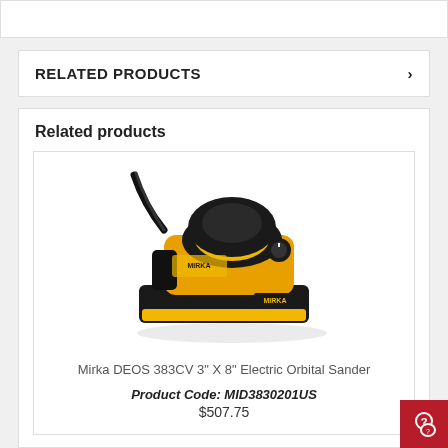RELATED PRODUCTS
Related products
[Figure (photo): Mirka DEOS 383CV 3" X 8" Electric Orbital Sander - yellow and black handheld electric orbital sander]
Mirka DEOS 383CV 3" X 8" Electric Orbital Sander
Product Code: MID3830201US
$507.75